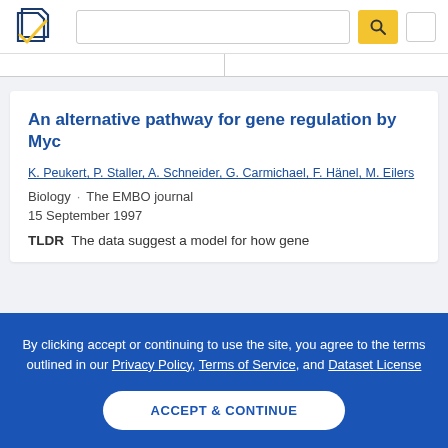[Figure (logo): Semantic Scholar logo - stylized book pages icon in navy blue and gold checkmark]
An alternative pathway for gene regulation by Myc
K. Peukert, P. Staller, A. Schneider, G. Carmichael, F. Hänel, M. Eilers
Biology · The EMBO journal
15 September 1997
TLDR  The data suggest a model for how gene
By clicking accept or continuing to use the site, you agree to the terms outlined in our Privacy Policy, Terms of Service, and Dataset License
ACCEPT & CONTINUE